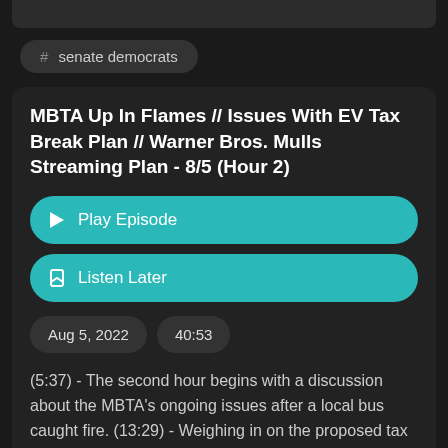# senate democrats
MBTA Up In Flames // Issues With EV Tax Break Plan // Warner Bros. Mulls Streaming Plan - 8/5 (Hour 2)
Play Episode
Listen Later
Aug 5, 2022
40:53
(5:37) - The second hour begins with a discussion about the MBTA's ongoing issues after a local bus caught fire. (13:29) - Weighing in on the proposed tax break for Americans that purchase electric vehicles